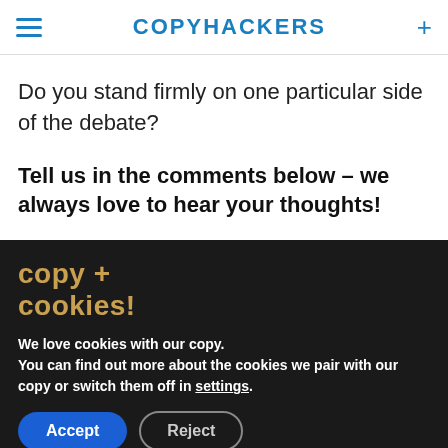COPYHACKERS
Do you stand firmly on one particular side of the debate?
Tell us in the comments below – we always love to hear your thoughts!
copy + cookies!
We love cookies with our copy. You can find out more about the cookies we pair with our copy or switch them off in settings.
Accept   Reject